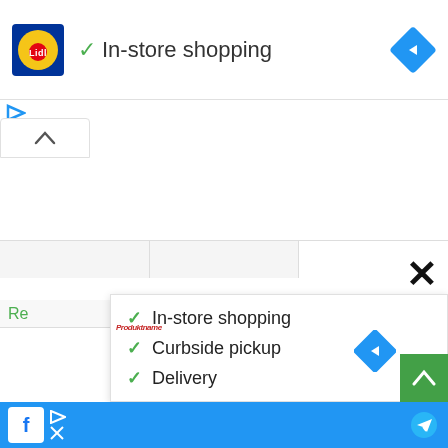[Figure (screenshot): Google Maps / store listing UI showing Lidl logo, 'In-store shopping' checkmark, navigation diamond icon, collapse chevron button, and a bottom panel with store service options: In-store shopping, Curbside pickup, Delivery. Also shows a blue bottom bar with Facebook icon, share icons, and Telegram icon. A green up-arrow button and a close X are visible.]